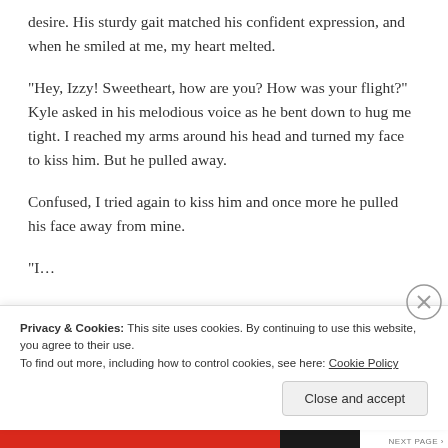desire. His sturdy gait matched his confident expression, and when he smiled at me, my heart melted.
“Hey, Izzy! Sweetheart, how are you? How was your flight?” Kyle asked in his melodious voice as he bent down to hug me tight. I reached my arms around his head and turned my face to kiss him. But he pulled away.
Confused, I tried again to kiss him and once more he pulled his face away from mine.
“I…” (truncated)
Privacy & Cookies: This site uses cookies. By continuing to use this website, you agree to their use.
To find out more, including how to control cookies, see here: Cookie Policy
Close and accept